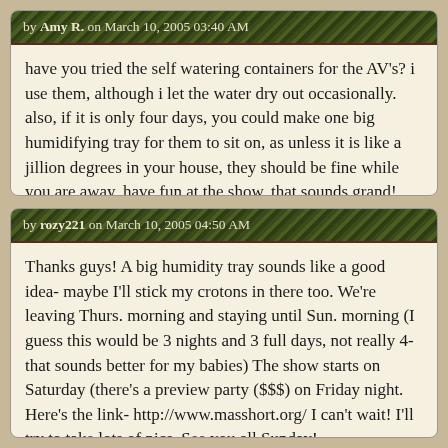by Amy R. on March 10, 2005 03:40 AM
have you tried the self watering containers for the AV's? i use them, although i let the water dry out occasionally. also, if it is only four days, you could make one big humidifying tray for them to sit on, as unless it is like a jillion degrees in your house, they should be fine while you are away. have fun at the show, that sounds grand!
by rozy221 on March 10, 2005 04:50 AM
Thanks guys! A big humidity tray sounds like a good idea- maybe I'll stick my crotons in there too. We're leaving Thurs. morning and staying until Sun. morning (I guess this would be 3 nights and 3 full days, not really 4-that sounds better for my babies) The show starts on Saturday (there's a preview party ($$$) on Friday night. Here's the link- http://www.masshort.org/ I can't wait! I'll try to take lots of pics. See you all Sunday!